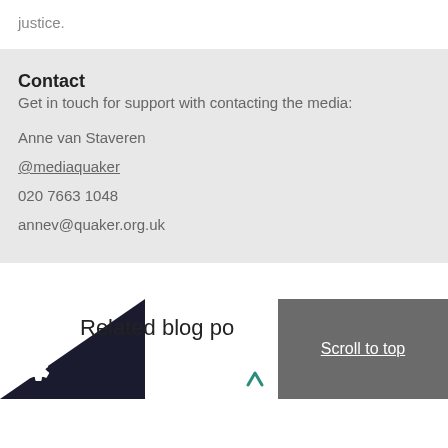justice.
Contact
Get in touch for support with contacting the media:
Anne van Staveren
@mediaquaker
020 7663 1048
annev@quaker.org.uk
Related blog po
Scroll to top